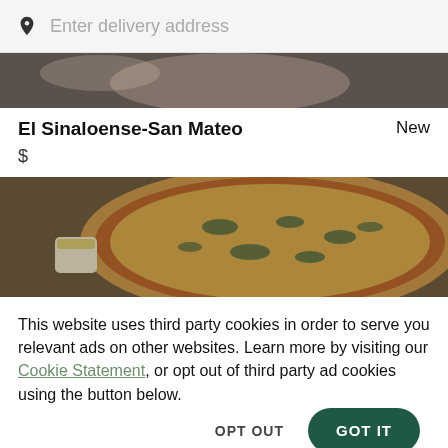[Figure (screenshot): Search bar with location pin icon and 'Enter delivery address' placeholder text on gray background]
[Figure (photo): Top portion of food image, dark and partially visible]
El Sinaloense-San Mateo
New
$
[Figure (photo): Pizza with cheese and toppings, with a small dipping sauce cup on the side]
This website uses third party cookies in order to serve you relevant ads on other websites. Learn more by visiting our Cookie Statement, or opt out of third party ad cookies using the button below.
OPT OUT
GOT IT